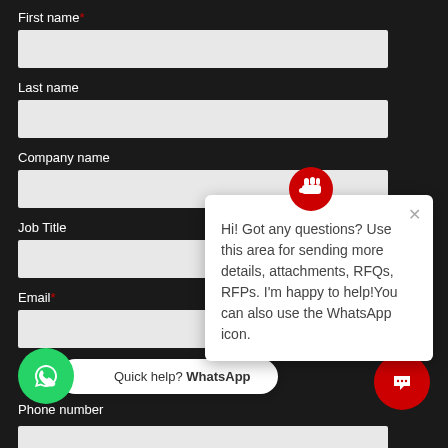First name *
Last name
Company name
Job Title
Email *
[Figure (screenshot): Chat popup with red fist/hand icon at top, close X button, and message: Hi! Got any questions? Use this area for sending more details, attachments, RFQs, RFPs. I'm happy to help!You can also use the WhatsApp icon.]
Quick help? WhatsApp
[Figure (logo): WhatsApp green circle button with phone handset icon]
[Figure (logo): Red circle chat bubble button]
Phone number